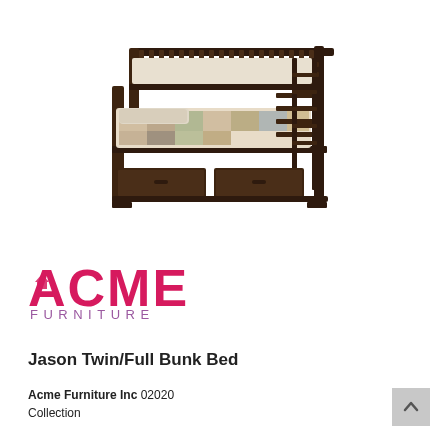[Figure (photo): Product photo of a dark espresso wood twin/full bunk bed with ladder on right side and two storage drawers underneath, dressed with patterned bedding on the lower bunk.]
[Figure (logo): ACME Furniture logo: pink/magenta 'ACME' in large bold letters with a house icon in the A, and 'FURNITURE' in purple spaced letters below.]
Jason Twin/Full Bunk Bed
Acme Furniture Inc 02020
Collection